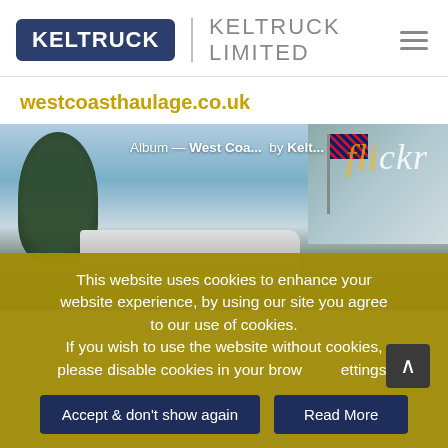[Figure (logo): Keltruck logo with dark blue rounded rectangle border and white text, followed by vertical divider and 'KELTRUCK LIMITED' text in grey]
[Figure (photo): Flickr album photo showing a truck, Union Jack flag on a pole, trees, and a building in the background, with overlay text: 'Album — West Coa... by Kelt...' and the Flickr logo]
westcoasthaulage.co.uk
This website uses cookies to enhance your website experience, by using our site you agree to our use of cookies.
If you wish to use the website without cookies, please disable cookies in your browser settings.
Accept & don't show again
Read More